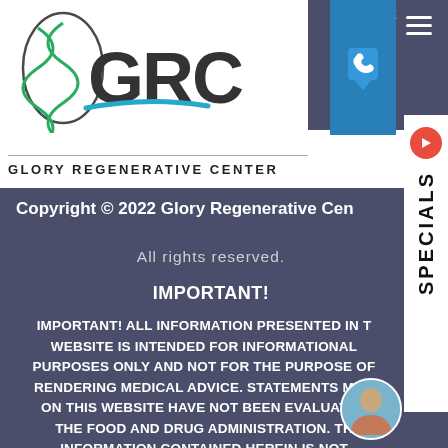[Figure (logo): GRC Glory Regenerative Center logo with DNA helix and stylized GRC text]
GLORY REGENERATIVE CENTER
[Figure (screenshot): Top right navigation bar with phone icon in blue box and hamburger menu, partially showing 'ATIVE CE' text, with SPECIALS vertical tab on right side]
Copyright © 2022 Glory Regenerative Cen
All rights reserved.
IMPORTANT!
IMPORTANT! ALL INFORMATION PRESENTED IN THIS WEBSITE IS INTENDED FOR INFORMATIONAL PURPOSES ONLY AND NOT FOR THE PURPOSE OF RENDERING MEDICAL ADVICE. STATEMENTS MADE ON THIS WEBSITE HAVE NOT BEEN EVALUATED THE FOOD AND DRUG ADMINISTRATION. THE INFORMATION CONTAINED HEREIN IS NOT INTENDED TO DIAGNOSE, TREAT, CURE OR